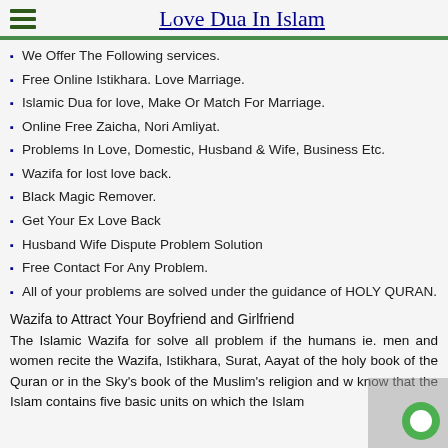Love Dua In Islam
We Offer The Following services.
Free Online Istikhara. Love Marriage.
Islamic Dua for love, Make Or Match For Marriage.
Online Free Zaicha, Nori Amliyat.
Problems In Love, Domestic, Husband & Wife, Business Etc.
Wazifa for lost love back.
Black Magic Remover.
Get Your Ex Love Back
Husband Wife Dispute Problem Solution
Free Contact For Any Problem.
All of your problems are solved under the guidance of HOLY QURAN.
Wazifa to Attract Your Boyfriend and Girlfriend
The Islamic Wazifa for solve all problem if the humans ie. men and women recite the Wazifa, Istikhara, Surat, Aayat of the holy book of the Quran or in the Sky’s book of the Muslim’s religion and w know that the Islam contains five basic units on which the Islam